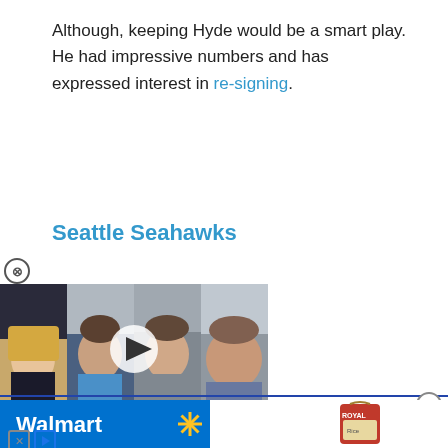Although, keeping Hyde would be a smart play. He had impressive numbers and has expressed interest in re-signing.
Seattle Seahawks
[Figure (screenshot): Video thumbnail showing four people's faces side-by-side with a play button overlay and a red banner at the bottom reading 'NFL UPDATES FROM TEAMS']
[Figure (screenshot): Walmart advertisement banner with Walmart logo and spark symbol in blue, with a product image on the right side]